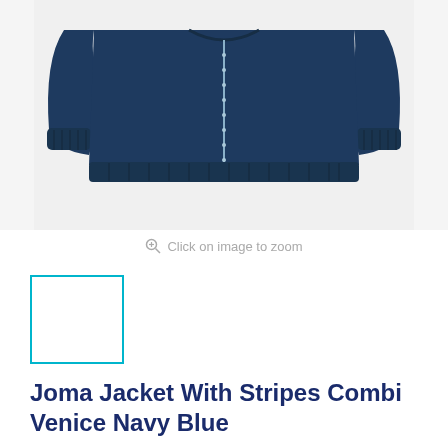[Figure (photo): Navy blue Joma zip-up track jacket shown from the front, cropped at the shoulders and waist, displayed against a light grey background.]
Click on image to zoom
[Figure (photo): Small thumbnail image of the same navy blue Joma jacket, selected/highlighted with a teal/cyan border.]
Joma Jacket With Stripes Combi Venice Navy Blue
JOMA
Title:  M